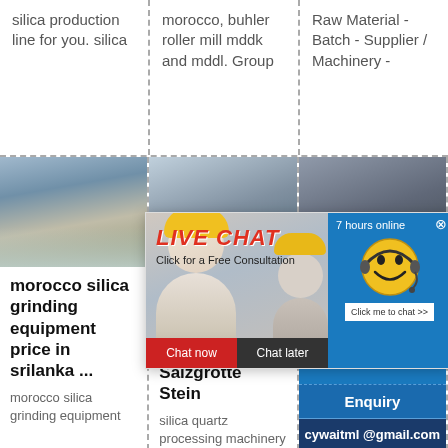silica production line for you. silica
morocco, buhler roller mill mddk and mddl. Group
Raw Material - Batch - Supplier / Machinery -
[Figure (photo): Industrial plant / quarry site photo]
[Figure (photo): Excavator / construction equipment photo]
[Figure (photo): Mining machinery photo]
morocco silica grinding equipment price in srilanka ...
morocco silica grinding equipment
[Figure (screenshot): Live Chat popup with chat now and chat later buttons, smiley face with headset, 7 hours online indicator]
processing machinery - Salzgrotte Stein
silica quartz processing machinery
Enquiry
cywaitml @gmail.com